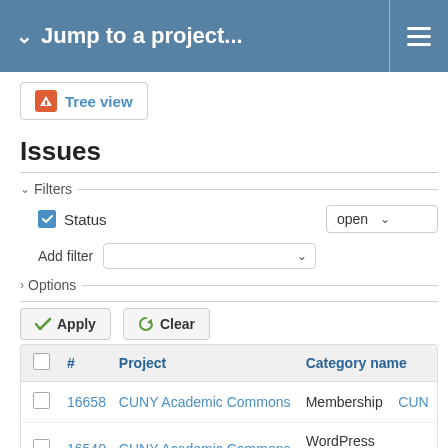Jump to a project...
[Figure (screenshot): Tree view button with orange alert icon]
Issues
Filters — Status: open — Add filter — Options
Apply   Clear
|  | # | Project | Category name |  |
| --- | --- | --- | --- | --- |
|  | 16658 | CUNY Academic Commons | Membership | CUN |
|  | 16540 | CUNY Academic Commons | WordPress Themes | CUN |